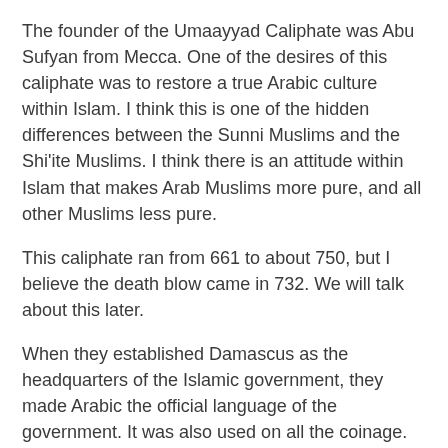The founder of the Umaayyad Caliphate was Abu Sufyan from Mecca. One of the desires of this caliphate was to restore a true Arabic culture within Islam. I think this is one of the hidden differences between the Sunni Muslims and the Shi'ite Muslims. I think there is an attitude within Islam that makes Arab Muslims more pure, and all other Muslims less pure.
This caliphate ran from 661 to about 750, but I believe the death blow came in 732. We will talk about this later.
When they established Damascus as the headquarters of the Islamic government, they made Arabic the official language of the government. It was also used on all the coinage. Again, we are not talking about a religion, we're talking about a government with its own money. The goal of this caliphate was to bring some unity by bringing it back to an Arabic Islam.
They had expanded all the way across Northern Africa, They